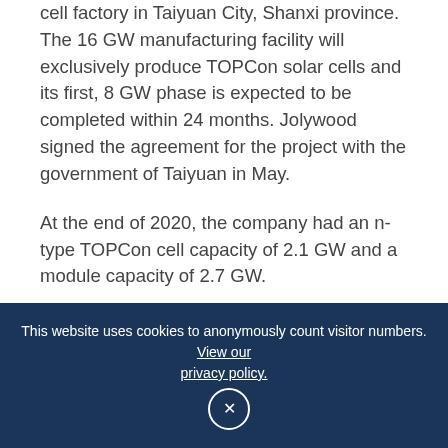cell factory in Taiyuan City, Shanxi province. The 16 GW manufacturing facility will exclusively produce TOPCon solar cells and its first, 8 GW phase is expected to be completed within 24 months. Jolywood signed the agreement for the project with the government of Taiyuan in May.
At the end of 2020, the company had an n-type TOPCon cell capacity of 2.1 GW and a module capacity of 2.7 GW.
This content is protected by copyright and may not be reused. If you want to cooperate with us and would like to reuse some of our content, please contact: editors@pv-magazine.com.
This website uses cookies to anonymously count visitor numbers. View our privacy policy.